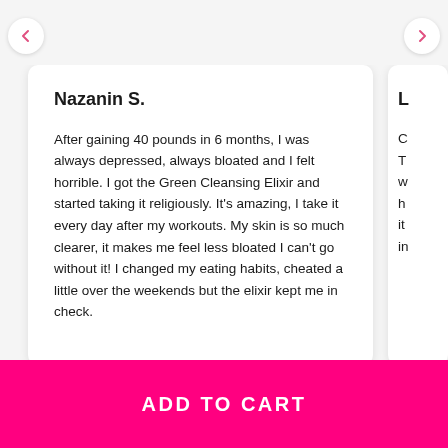Nazanin S.
After gaining 40 pounds in 6 months, I was always depressed, always bloated and I felt horrible. I got the Green Cleansing Elixir and started taking it religiously. It’s amazing, I take it every day after my workouts. My skin is so much clearer, it makes me feel less bloated I can’t go without it! I changed my eating habits, cheated a little over the weekends but the elixir kept me in check.
ADD TO CART